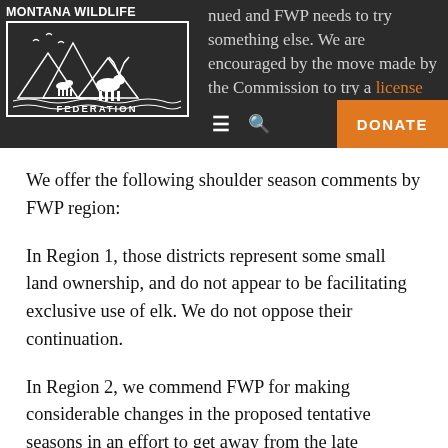MONTANA WILDLIFE FEDERATION — navigation header with DONATE button
nued and FWP needs to try something else. We are encouraged by the move made by the Commission to try a license type that is available general season and for the month of December in those districts.
We offer the following shoulder season comments by FWP region:
In Region 1, those districts represent some small land ownership, and do not appear to be facilitating exclusive use of elk. We do not oppose their continuation.
In Region 2, we commend FWP for making considerable changes in the proposed tentative seasons in an effort to get away from the late shoulder seasons in most districts. Three of the districts still proposed to hold shoulder seasons